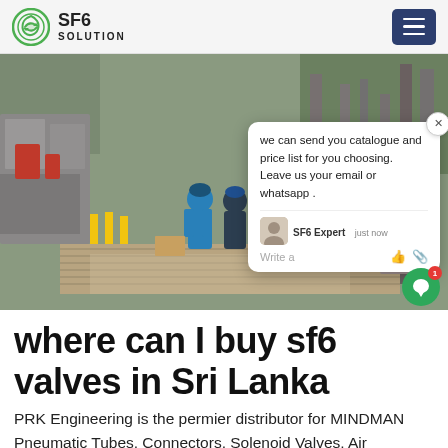SF6 SOLUTION
[Figure (photo): Workers in blue hard hats and work clothes walking along a raised wooden walkway between industrial equipment and structures at an outdoor SF6 gas installation or substation site. Heavy machinery and yellow safety barriers visible.]
where can I buy sf6 valves in Sri Lanka
PRK Engineering is the permier distributor for MINDMAN Pneumatic Tubes, Connectors, Solenoid Valves, Air Treatment Units, Air Cylinders in Sri Lanka